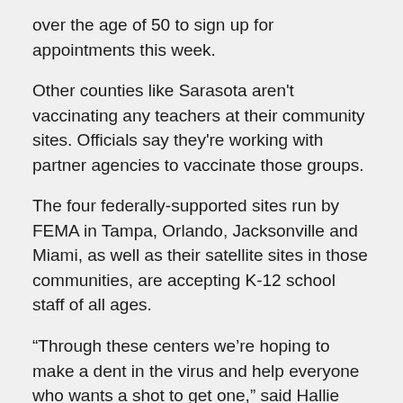over the age of 50 to sign up for appointments this week.
Other counties like Sarasota aren't vaccinating any teachers at their community sites. Officials say they're working with partner agencies to vaccinate those groups.
The four federally-supported sites run by FEMA in Tampa, Orlando, Jacksonville and Miami, as well as their satellite sites in those communities, are accepting K-12 school staff of all ages.
“Through these centers we're hoping to make a dent in the virus and help everyone who wants a shot to get one,” said Hallie Anderson with FEMA external affairs.
Visitors must show state identification that proves they work for the schools.
Cars lined up down the block to enter the mass